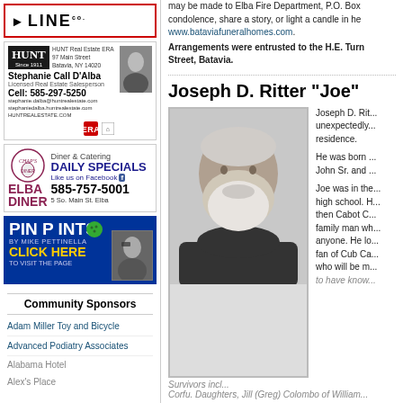[Figure (illustration): LINE Co. advertisement with arrow logo]
[Figure (photo): HUNT Real Estate ERA advertisement featuring Stephanie Call D'Alba, Licensed Real Estate Salesperson, Cell: 585-297-5250]
[Figure (illustration): Chap's Elba Diner advertisement - Diner & Catering, DAILY SPECIALS, Like us on Facebook, 585-757-5001, 5 So. Main St. Elba]
[Figure (illustration): PIN POINTS BY MIKE PETTINELLA - CLICK HERE TO VISIT THE PAGE]
Community Sponsors
Adam Miller Toy and Bicycle
Advanced Podiatry Associates
Alabama Hotel
Alex's Place
may be made to Elba Fire Department, P.O. Box condolence, share a story, or light a candle in he www.bataviafuneralhomes.com.
Arrangements were entrusted to the H.E. Turn Street, Batavia.
Joseph D. Ritter "Joe"
[Figure (photo): Portrait photo of Joseph D. Ritter, a middle-aged man with gray beard and hair, wearing a dark shirt, outdoors with green background]
Joseph D. Rit... unexpectedly... residence.
He was born ... John Sr. and ...
Joe was in the... high school. H... then Cabot C... family man wh... anyone. He lo... fan of Cub Ca... who will be m... to have know...
Survivors incl... Corfu. Daughters, Jill (Greg) Colombo of William...